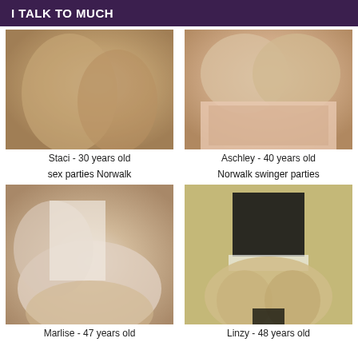I TALK TO MUCH
[Figure (photo): Close-up photo of a woman's hip/thigh area]
Staci - 30 years old
[Figure (photo): Close-up photo of a woman's torso/chest area]
Aschley - 40 years old
sex parties Norwalk
Norwalk swinger parties
[Figure (photo): Close-up photo of a woman's neck and chest area]
Marlise - 47 years old
[Figure (photo): Photo of a woman in black lingerie from behind]
Linzy - 48 years old